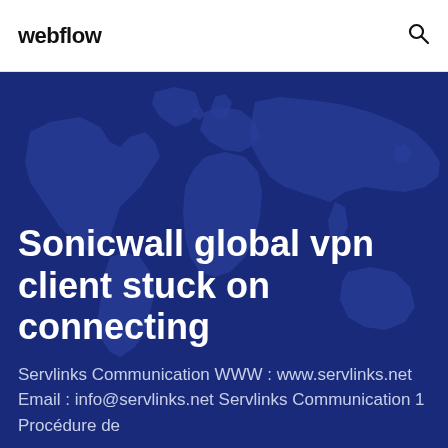webflow
[Figure (illustration): World map background in dark blue tones used as hero banner background]
Sonicwall global vpn client stuck on connecting
Servlinks Communication WWW : www.servlinks.net Email : info@servlinks.net Servlinks Communication 1 Procédure de